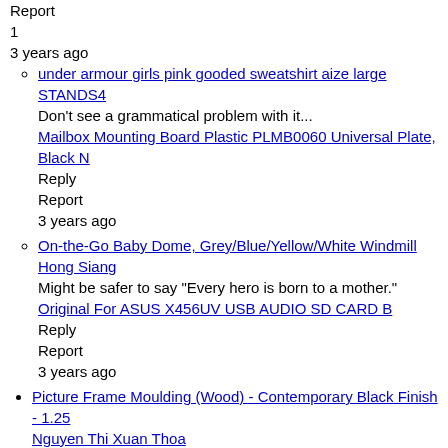Report
1
3 years ago
under armour girls pink gooded sweatshirt aize large STANDS4
Don't see a grammatical problem with it...
Mailbox Mounting Board Plastic PLMB0060 Universal Plate, Black N
Reply
Report
3 years ago
On-the-Go Baby Dome, Grey/Blue/Yellow/White Windmill
Hong Siang
Might be safer to say "Every hero is born to a mother."
Original For ASUS X456UV USB AUDIO SD CARD B
Reply
Report
3 years ago
Picture Frame Moulding (Wood) - Contemporary Black Finish - 1.25
Nguyen Thi Xuan Thoa
How I can know to revise right sentence
Birthday Decorations, Party Decorations, Blue Birthday Party Dec
Reply